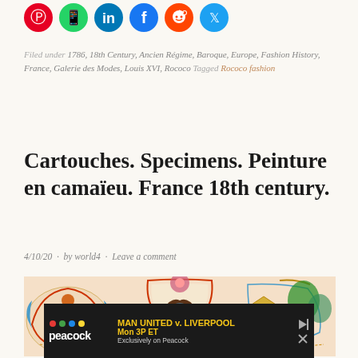[Figure (other): Social media share icons: Pinterest (red), WhatsApp (green), LinkedIn (blue), Facebook (blue), Reddit (orange-red), Twitter (light blue)]
Filed under 1786, 18th Century, Ancien Régime, Baroque, Europe, Fashion History, France, Galerie des Modes, Louis XVI, Rococo Tagged Rococo fashion
Cartouches. Specimens. Peinture en camaïeu. France 18th century.
4/10/20 · by world4 · Leave a comment
[Figure (illustration): Colorful Rococo-style cartouches and decorative ornamental illustrations in the style of 18th century French art, featuring elaborate scrollwork, floral motifs, and figures on a pale pink background.]
[Figure (other): Advertisement banner for Peacock streaming: MAN UNITED v. LIVERPOOL, Mon 3P ET, Exclusively on Peacock]